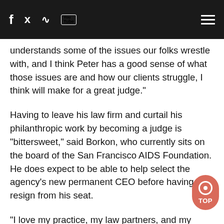f [twitter] [rss] [YouTube] [menu]
understands some of the issues our folks wrestle with, and I think Peter has a good sense of what those issues are and how our clients struggle, I think will make for a great judge."
Having to leave his law firm and curtail his philanthropic work by becoming a judge is "bittersweet," said Borkon, who currently sits on the board of the San Francisco AIDS Foundation. He does expect to be able to help select the agency's new permanent CEO before having to resign from his seat.
"I love my practice, my law partners, and my teams. Having to consider which charities to depart from and those things is very bittersweet for me," said Borkon. "I have built very deep and lasting friendships in those